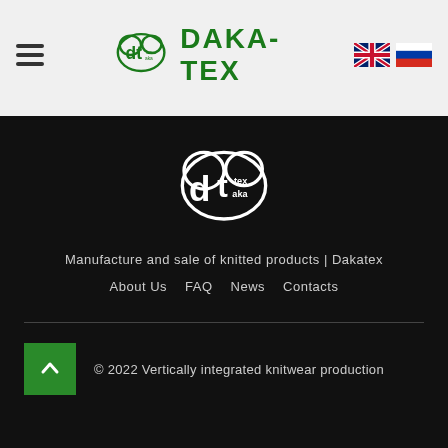DAKA-TEX header navigation with logo, hamburger menu, and language flags (EN, RU)
[Figure (logo): Daka-tex white logo on black background — cloud shape with 'dt' monogram and 'tex/aka' text]
Manufacture and sale of knitted products | Dakatex
About Us  FAQ  News  Contacts
© 2022 Vertically integrated knitwear production